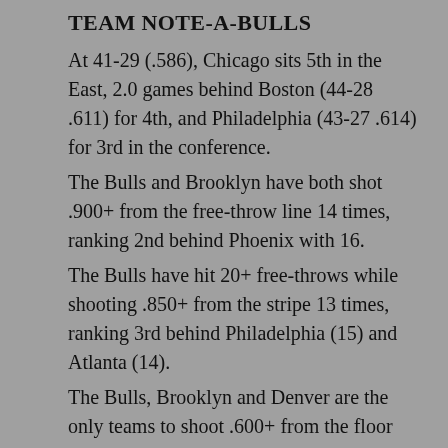TEAM NOTE-A-BULLS
At 41-29 (.586), Chicago sits 5th in the East, 2.0 games behind Boston (44-28 .611) for 4th, and Philadelphia (43-27 .614) for 3rd in the conference.
The Bulls and Brooklyn have both shot .900+ from the free-throw line 14 times, ranking 2nd behind Phoenix with 16.
The Bulls have hit 20+ free-throws while shooting .850+ from the stripe 13 times, ranking 3rd behind Philadelphia (15) and Atlanta (14).
The Bulls, Brooklyn and Denver are the only teams to shoot .600+ from the floor twice this season. Five others have done it once.
The Bulls have also shot .500+ from the field 26 times, ranking 2nd behind Phoenix (29) and...